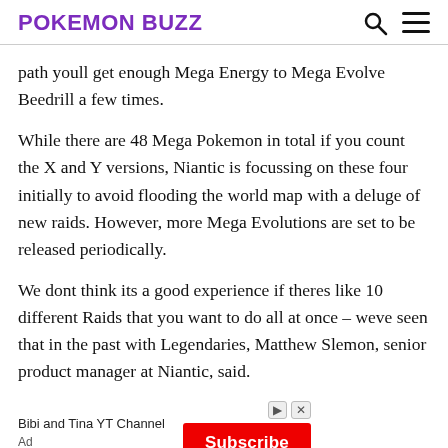POKEMON BUZZ
path youll get enough Mega Energy to Mega Evolve Beedrill a few times.
While there are 48 Mega Pokemon in total if you count the X and Y versions, Niantic is focussing on these four initially to avoid flooding the world map with a deluge of new raids. However, more Mega Evolutions are set to be released periodically.
We dont think its a good experience if theres like 10 different Raids that you want to do all at once – weve seen that in the past with Legendaries, Matthew Slemon, senior product manager at Niantic, said.
[Figure (other): Advertisement banner: Bibi and Tina YT Channel with a red Subscribe button and Ad label]